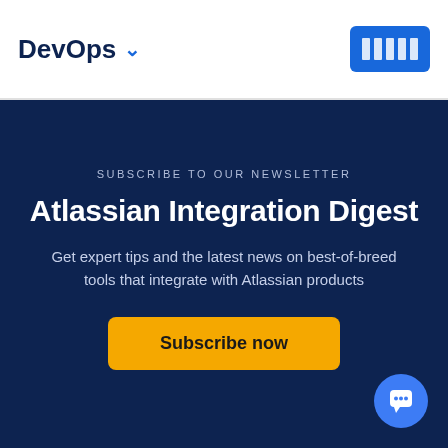DevOps
SUBSCRIBE TO OUR NEWSLETTER
Atlassian Integration Digest
Get expert tips and the latest news on best-of-breed tools that integrate with Atlassian products
Subscribe now